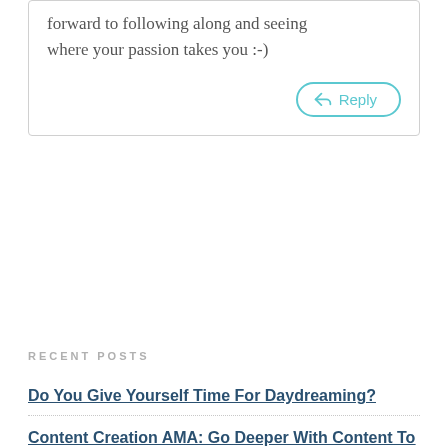forward to following along and seeing where your passion takes you :-)
Reply
RECENT POSTS
Do You Give Yourself Time For Daydreaming?
Content Creation AMA: Go Deeper With Content To Create More Connection
Content Creation AMA: Jumping Back Into Blogging